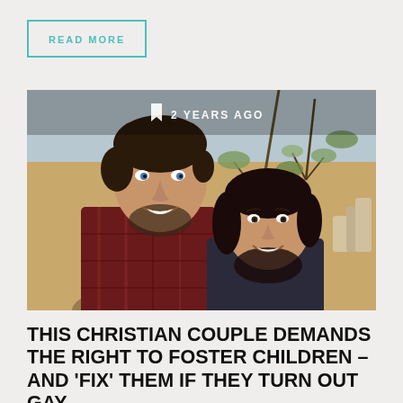READ MORE
[Figure (photo): A smiling man and woman couple posing together outdoors near trees. Timestamp overlay reads '2 YEARS AGO'.]
THIS CHRISTIAN COUPLE DEMANDS THE RIGHT TO FOSTER CHILDREN – AND 'FIX' THEM IF THEY TURN OUT GAY